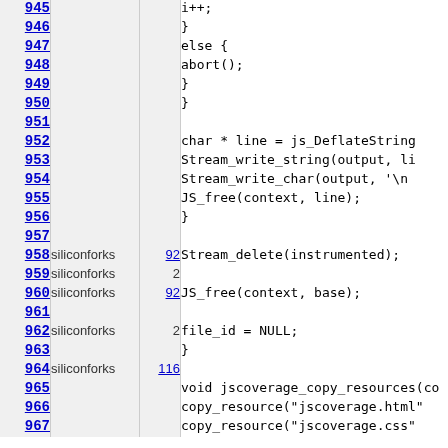| Line | Author | Count | Code |
| --- | --- | --- | --- |
| 945 |  |  | i++; |
| 946 |  |  | } |
| 947 |  |  | else { |
| 948 |  |  |     abort(); |
| 949 |  |  | } |
| 950 |  |  | } |
| 951 |  |  |  |
| 952 |  |  | char * line = js_DeflateString( |
| 953 |  |  | Stream_write_string(output, li |
| 954 |  |  | Stream_write_char(output, '\n |
| 955 |  |  | JS_free(context, line); |
| 956 |  |  | } |
| 957 |  |  |  |
| 958 | siliconforks | 92 | Stream_delete(instrumented); |
| 959 | siliconforks | 2 |  |
| 960 | siliconforks | 92 | JS_free(context, base); |
| 961 |  |  |  |
| 962 | siliconforks | 2 | file_id = NULL; |
| 963 |  |  | } |
| 964 | siliconforks | 116 |  |
| 965 |  |  | void jscoverage_copy_resources(co |
| 966 |  |  |     copy_resource("jscoverage.html" |
| 967 |  |  |     copy_resource("jscoverage.css" |